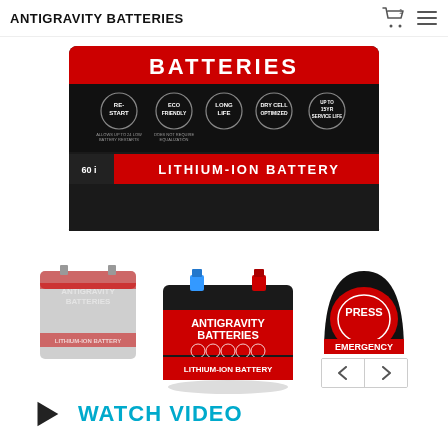ANTIGRAVITY BATTERIES
[Figure (photo): Close-up top view of a black Antigravity Batteries Lithium-Ion Battery showing the red label band with 'BATTERIES' text and feature icons (RE-START, ECO-FRIENDLY, LONG LIFE, DRY CELL OPTIMIZED, UP TO 15 YEAR SERVICE LIFE) and a red strip labeled 'LITHIUM-ION BATTERY']
[Figure (photo): Three product thumbnail images: left shows a grayed-out Antigravity Batteries lithium-ion battery (previous product view), center shows an active/selected view of the Antigravity Batteries black battery with blue and red terminals on top, right shows a partial image of a red and black circular 'PRESS EMERGENCY' button with navigation arrows below]
WATCH VIDEO